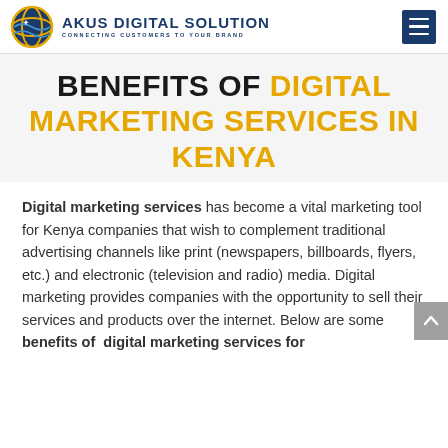AKUS DIGITAL SOLUTION — CONNECTING CUSTOMERS TO YOUR BRAND
BENEFITS OF DIGITAL MARKETING SERVICES IN KENYA
Digital marketing services has become a vital marketing tool for Kenya companies that wish to complement traditional advertising channels like print (newspapers, billboards, flyers, etc.) and electronic (television and radio) media. Digital marketing provides companies with the opportunity to sell their services and products over the internet. Below are some benefits of digital marketing services for
businesses in Kenya